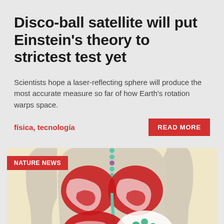Disco-ball satellite will put Einstein's theory to strictest test yet
Scientists hope a laser-reflecting sphere will produce the most accurate measure so far of how Earth's rotation warps space.
física, tecnología
[Figure (illustration): Medical illustration showing a cross-section of a human torso with organs including lungs (red and white), liver (red and white), stomach with gut microbiome depicted with colorful bacteria/microorganisms in green, pink, and white. The figure shows the digestive tract in teal/green connecting the organs. Background is beige/cream colored.]
NATURE NEWS